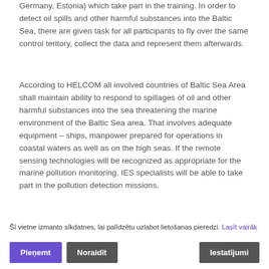Germany, Estonia) which take part in the training. In order to detect oil spills and other harmful substances into the Baltic Sea, there are given task for all participants to fly over the same control teritory, collect the data and represent them afterwards.
According to HELCOM all involved countries of Baltic Sea Area shall maintain ability to respond to spillages of oil and other harmful substances into the sea threatening the marine environment of the Baltic Sea area. That involves adequate equipment – ships, manpower prepared for operations in coastal waters as well as on the high seas. If the remote sensing technologies will be recognized as appropriate for the marine pollution monitoring, IES specialists will be able to take part in the pollution detection missions.
Šī vietne izmanto sīkdatnes, lai palīdzētu uzlabot lietošanas pieredzi. Lasīt vairāk
Pieņemt | Noraidīt | Iestatījumi